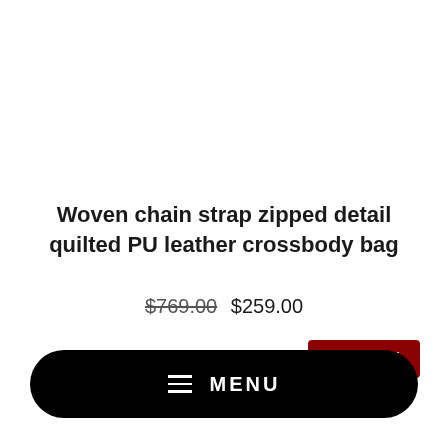Woven chain strap zipped detail quilted PU leather crossbody bag
$769.00  $259.00
Save 66%
MENU